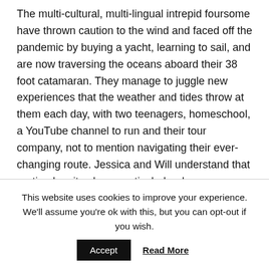The multi-cultural, multi-lingual intrepid foursome have thrown caution to the wind and faced off the pandemic by buying a yacht, learning to sail, and are now traversing the oceans aboard their 38 foot catamaran. They manage to juggle new experiences that the weather and tides throw at them each day, with two teenagers, homeschool, a YouTube channel to run and their tour company, not to mention navigating their ever-changing route. Jessica and Will understand that routine has its place, particularly where education and work are concerned but they are, by their own admission, status-quo dropouts.
Wardrobe working
This website uses cookies to improve your experience. We'll assume you're ok with this, but you can opt-out if you wish.
Accept  Read More